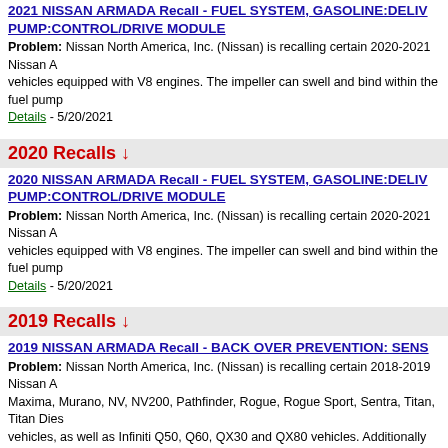2021 NISSAN ARMADA Recall - FUEL SYSTEM, GASOLINE:DELIVERY:FUEL PUMP:CONTROL/DRIVE MODULE
Problem: Nissan North America, Inc. (Nissan) is recalling certain 2020-2021 Nissan A vehicles equipped with V8 engines. The impeller can swell and bind within the fuel pump Details - 5/20/2021
2020 Recalls ↓
2020 NISSAN ARMADA Recall - FUEL SYSTEM, GASOLINE:DELIVERY:FUEL PUMP:CONTROL/DRIVE MODULE
Problem: Nissan North America, Inc. (Nissan) is recalling certain 2020-2021 Nissan A vehicles equipped with V8 engines. The impeller can swell and bind within the fuel pump Details - 5/20/2021
2019 Recalls ↓
2019 NISSAN ARMADA Recall - BACK OVER PREVENTION: SENS
Problem: Nissan North America, Inc. (Nissan) is recalling certain 2018-2019 Nissan A Maxima, Murano, NV, NV200, Pathfinder, Rogue, Rogue Sport, Sentra, Titan, Titan Dies vehicles, as well as Infiniti Q50, Q60, QX30 and QX80 vehicles. Additionally included are Infiniti QX50, QX60, Q70, Q70L vehicles. The back-up camera and display settings can image is no longer visible and the system will retain that setting the next time the vehicle vehicles fail to comply with the requirements of Federal Motor Vehicle Safety Standard (N Visibility."  Recall Details - 9/12/2019
2018 Recalls ↓
2018 NISSAN ARMADA Recall - BACK OVER PREVENTION: SENS
Problem: Nissan North America, Inc. (Nissan) is recalling certain 2018-2019 Nissan A Sentra, Titan, Titan Diesel, Versa Note and Versa Sedan vehicles, as well as Infiniti Q50 QX60, Q70, Q70L vehicles. The back-up camera and display settings can be adjusted so vehicle is placed in reverse. As such, these vehicles fail to comply with the requirements